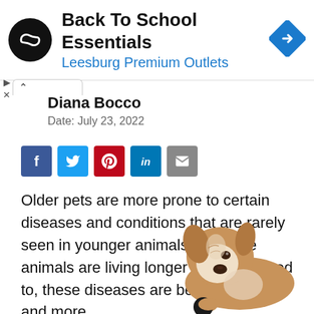[Figure (screenshot): Advertisement banner for Back To School Essentials at Leesburg Premium Outlets, featuring a black circular logo with a double arrow symbol and a blue diamond navigation icon on the right.]
Diana Bocco
Date: July 23, 2022
[Figure (infographic): Social sharing buttons row: Facebook (blue), Twitter (blue), Pinterest (red), LinkedIn (blue), Email (gray)]
Older pets are more prone to certain diseases and conditions that are rarely seen in younger animals. Because animals are living longer than they used to, these diseases are becoming more and more
[Figure (photo): A brown and white bulldog puppy lying down and chewing on a black toy/ball]